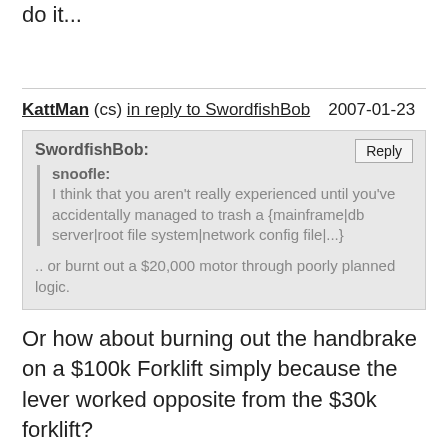do it...
KattMan (cs) in reply to SwordfishBob 2007-01-23
SwordfishBob: snoofle: I think that you aren't really experienced until you've accidentally managed to trash a {mainframe|db server|root file system|network config file|...} .. or burnt out a $20,000 motor through poorly planned logic.
Or how about burning out the handbrake on a $100k Forklift simply because the lever worked opposite from the $30k forklift?